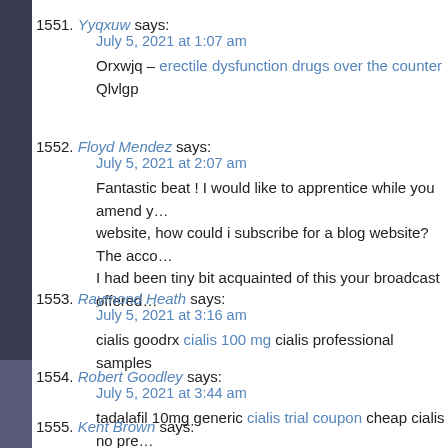1551. Yyqxuw says:
July 5, 2021 at 1:07 am
Orxwjq – erectile dysfunction drugs over the counter Qlvlgp
1552. Floyd Mendez says:
July 5, 2021 at 2:07 am
Fantastic beat ! I would like to apprentice while you amend your website, how could i subscribe for a blog website? The acco... I had been tiny bit acquainted of this your broadcast offered...
1553. Raymond Heath says:
July 5, 2021 at 3:16 am
cialis goodrx cialis 100 mg cialis professional samples
1554. Robert Goodley says:
July 5, 2021 at 3:44 am
tadalafil 10mg generic cialis trial coupon cheap cialis no pre...
1555. Kent Brown says: